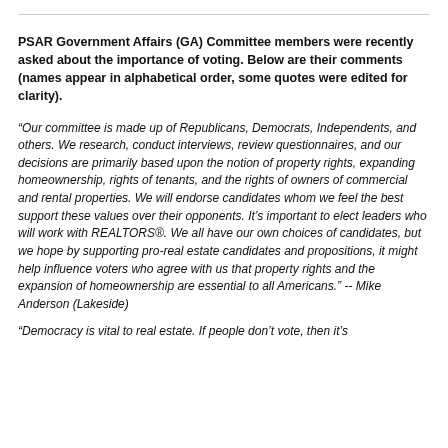PSAR Government Affairs (GA) Committee members were recently asked about the importance of voting. Below are their comments (names appear in alphabetical order, some quotes were edited for clarity).
“Our committee is made up of Republicans, Democrats, Independents, and others. We research, conduct interviews, review questionnaires, and our decisions are primarily based upon the notion of property rights, expanding homeownership, rights of tenants, and the rights of owners of commercial and rental properties. We will endorse candidates whom we feel the best support these values over their opponents. It’s important to elect leaders who will work with REALTORS®. We all have our own choices of candidates, but we hope by supporting pro-real estate candidates and propositions, it might help influence voters who agree with us that property rights and the expansion of homeownership are essential to all Americans.” -- Mike Anderson (Lakeside)
“Democracy is vital to real estate. If people don’t vote, then it’s